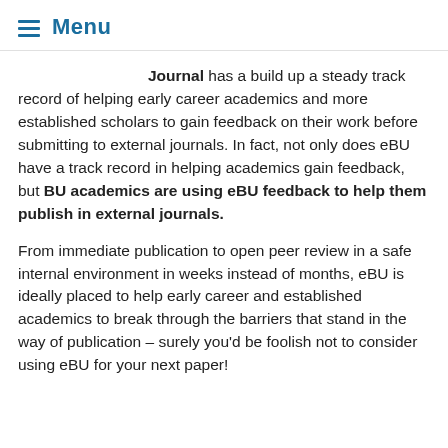≡ Menu
Journal has a build up a steady track record of helping early career academics and more established scholars to gain feedback on their work before submitting to external journals. In fact, not only does eBU have a track record in helping academics gain feedback, but BU academics are using eBU feedback to help them publish in external journals.
From immediate publication to open peer review in a safe internal environment in weeks instead of months, eBU is ideally placed to help early career and established academics to break through the barriers that stand in the way of publication – surely you'd be foolish not to consider using eBU for your next paper!